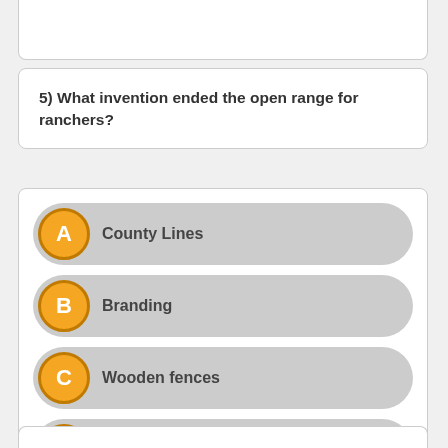5) What invention ended the open range for ranchers?
A  County Lines
B  Branding
C  Wooden fences
D  Barbed wire